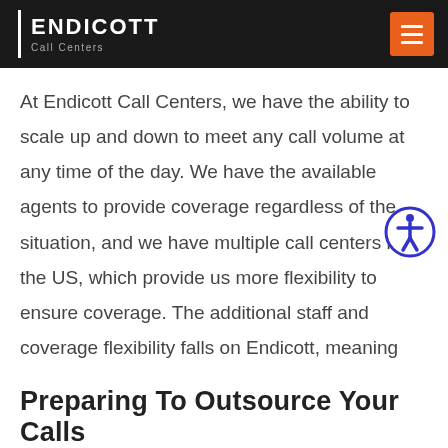ENDICOTT Call Centers
At Endicott Call Centers, we have the ability to scale up and down to meet any call volume at any time of the day. We have the available agents to provide coverage regardless of the situation, and we have multiple call centers in the US, which provide us more flexibility to ensure coverage. The additional staff and coverage flexibility falls on Endicott, meaning you don't have to concern yourself with the worry about adequate staffing to cover calls.
Preparing To Outsource Your Calls